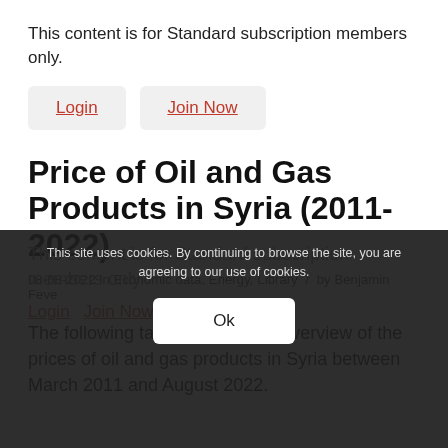This content is for Standard subscription members only.
Login   Join Now
Price of Oil and Gas Products in Syria (2011-2022)
08-08-2022 in Economic data, Energy, Library  /  by Benjamin Feve
The following tables provide an overview of the prices of oil and gas products in Syria between March 2011 and August 2022.
This site uses cookies. By continuing to browse the site, you are agreeing to our use of cookies.
Ok
This content is for Standard subscription members only.
Login   Join Now